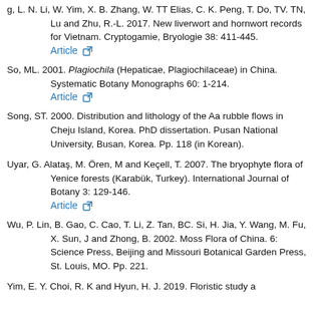g, L. N. Li, W. Yim, X. B. Zhang, W. TT Elias, C. K. Peng, T. Do, TV. TN, Lu and Zhu, R.-L. 2017. New liverwort and hornwort records for Vietnam. Cryptogamie, Bryologie 38: 411-445. Article
So, ML. 2001. Plagiochila (Hepaticae, Plagiochilaceae) in China. Systematic Botany Monographs 60: 1-214. Article
Song, ST. 2000. Distribution and lithology of the Aa rubble flows in Cheju Island, Korea. PhD dissertation. Pusan National University, Busan, Korea. Pp. 118 (in Korean).
Uyar, G. Alataş, M. Ören, M and Keçell, T. 2007. The bryophyte flora of Yenice forests (Karabük, Turkey). International Journal of Botany 3: 129-146. Article
Wu, P. Lin, B. Gao, C. Cao, T. Li, Z. Tan, BC. Si, H. Jia, Y. Wang, M. Fu, X. Sun, J and Zhong, B. 2002. Moss Flora of China. 6: Science Press, Beijing and Missouri Botanical Garden Press, St. Louis, MO. Pp. 221.
Yim, E. Y. Choi, R. K and Hyun, H. J. 2019. Floristic study a...